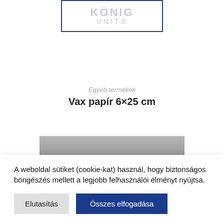[Figure (logo): König Units logo with text KÖNIG on top and UNITS below, inside a dark blue bordered rectangle]
Egyéb termékek
Vax papír 6×25 cm
[Figure (photo): Grey product image, partially visible, likely showing wax paper roll]
A weboldal sütiket (cookie-kat) használ, hogy biztonságos böngészés mellett a legjobb felhasználói élményt nyújtsa.
Elutasítás
Összes elfogadása